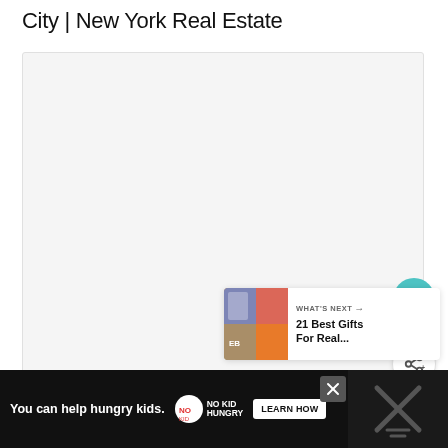City | New York Real Estate
[Figure (photo): Large light gray placeholder image area for a real estate property photo]
[Figure (infographic): What's Next card showing thumbnail image and text '21 Best Gifts For Real...' with arrow]
[Figure (screenshot): Advertisement banner: 'You can help hungry kids.' No Kid Hungry logo with LEARN HOW button, close X button, and decorative right panel with X and lines symbol]